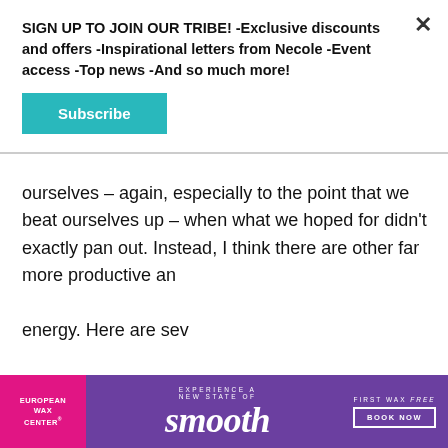SIGN UP TO JOIN OUR TRIBE! -Exclusive discounts and offers -Inspirational letters from Necole -Event access -Top news -And so much more!
Subscribe
ourselves – again, especially to the point that we beat ourselves up – when what we hoped for didn't exactly pan out. Instead, I think there are other far more productive an energy. Here are sev
[Figure (other): European Wax Center advertisement banner. Pink left panel with 'EUROPEAN WAX CENTER' text, purple center with 'EXPERIENCE A NEW STATE OF smooth' text, and right side with 'FIRST WAX free BOOK NOW' button.]